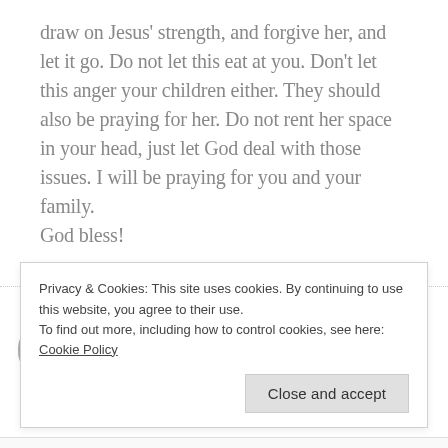draw on Jesus' strength, and forgive her, and let it go. Do not let this eat at you. Don't let this anger your children either. They should also be praying for her. Do not rent her space in your head, just let God deal with those issues. I will be praying for you and your family.
God bless!
Edna Williams says
March 8, 2014 at 18:18
Privacy & Cookies: This site uses cookies. By continuing to use this website, you agree to their use.
To find out more, including how to control cookies, see here: Cookie Policy
Close and accept